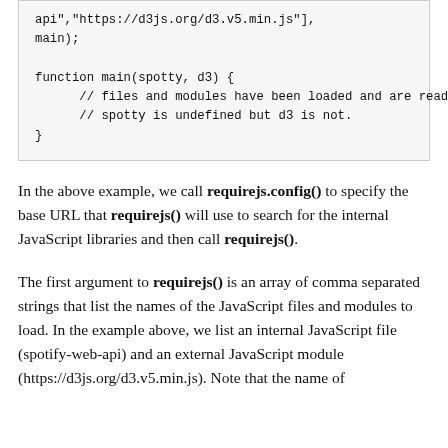api","https://d3js.org/d3.v5.min.js"],
main);

function main(spotty, d3) {
      // files and modules have been loaded and are ready for use
      // spotty is undefined but d3 is not.
}
In the above example, we call requirejs.config() to specify the base URL that requirejs() will use to search for the internal JavaScript libraries and then call requirejs().
The first argument to requirejs() is an array of comma separated strings that list the names of the JavaScript files and modules to load. In the example above, we list an internal JavaScript file (spotify-web-api) and an external JavaScript module (https://d3js.org/d3.v5.min.js). Note that the name of the internal file to load is derived from its path relative to the base URL.